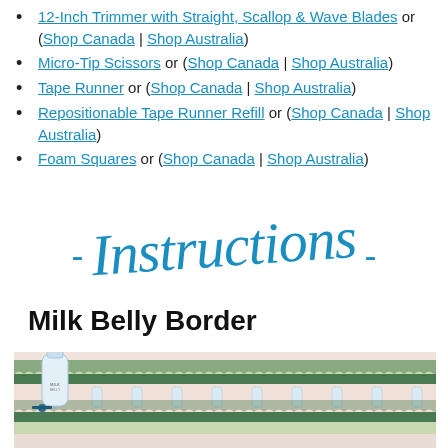12-Inch Trimmer with Straight, Scallop & Wave Blades or (Shop Canada | Shop Australia)
Micro-Tip Scissors or (Shop Canada | Shop Australia)
Tape Runner or (Shop Canada | Shop Australia)
Repositionable Tape Runner Refill or (Shop Canada | Shop Australia)
Foam Squares or (Shop Canada | Shop Australia)
- Instructions -
Milk Belly Border
[Figure (photo): Photo of Milk Belly Border scrapbooking paper strips with baby bottle design, showing decorative scalloped edges in green and pink tones, with a baby bottle product visible on the left side.]